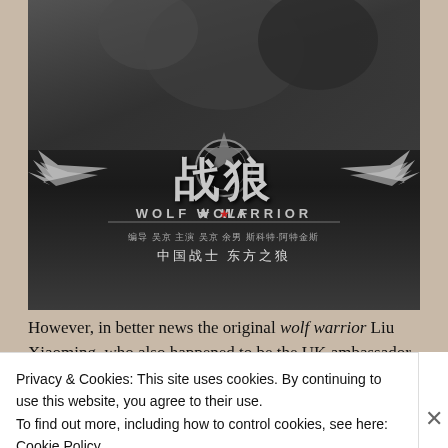[Figure (photo): Movie poster for Wolf Warrior (战狼), a Chinese action film. Dark grey tones showing action figures at top, with large stylized Chinese characters in the center, 'WOLF ★ WARRIOR' in English below, followed by Chinese credits and subtitle text.]
However, in better news the original wolf warrior Liu Xiaoming, who also happened to be the UK ambassador, just
Privacy & Cookies: This site uses cookies. By continuing to use this website, you agree to their use.
To find out more, including how to control cookies, see here:
Cookie Policy
Close and accept